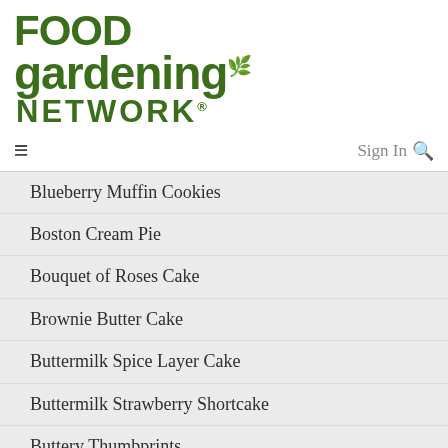[Figure (logo): Food Gardening Network logo in dark green]
≡  Sign In 🔍
Blueberry Muffin Cookies
Boston Cream Pie
Bouquet of Roses Cake
Brownie Butter Cake
Buttermilk Spice Layer Cake
Buttermilk Strawberry Shortcake
Buttery Thumbprints
Candied Lemonade Cake Bread Recipe
Cannoli Poke Cake
Carrot Cake Poke Cake